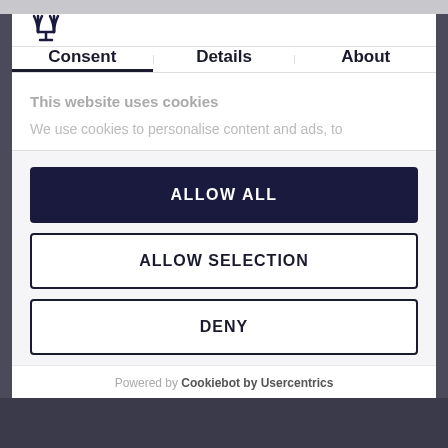[Figure (logo): Website logo icon (fork/trophy shape) in top left of modal header]
Consent | Details | About
This website uses cookies
We use cookies to personalise content and ads, to
ALLOW ALL
ALLOW SELECTION
DENY
Powered by Cookiebot by Usercentrics